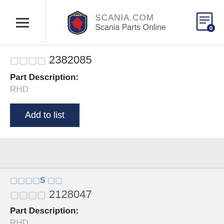SCANIA.COM Scania Parts Online
□□□□ 2382085
Part Description:
RHD
Add to list
□□□□S □□
□□□□ 2128047
Part Description:
RHD